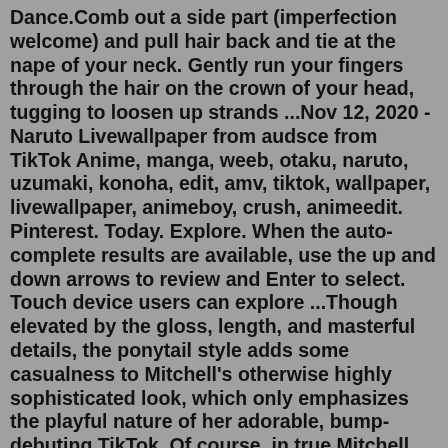Dance.Comb out a side part (imperfection welcome) and pull hair back and tie at the nape of your neck. Gently run your fingers through the hair on the crown of your head, tugging to loosen up strands ...Nov 12, 2020 - Naruto Livewallpaper from audsce from TikTok Anime, manga, weeb, otaku, naruto, uzumaki, konoha, edit, amv, tiktok, wallpaper, livewallpaper, animeboy, crush, animeedit. Pinterest. Today. Explore. When the auto-complete results are available, use the up and down arrows to review and Enter to select. Touch device users can explore ...Though elevated by the gloss, length, and masterful details, the ponytail style adds some casualness to Mitchell's otherwise highly sophisticated look, which only emphasizes the playful nature of her adorable, bump-debuting TikTok. Of course, in true Mitchell fashion, that wasn't her only message about the newest addition to her family.How to Create the Viral TikTok Ponytail in 5 Steps Step 1: Separate your hair into 3 sections.. This step is pretty straightforward.